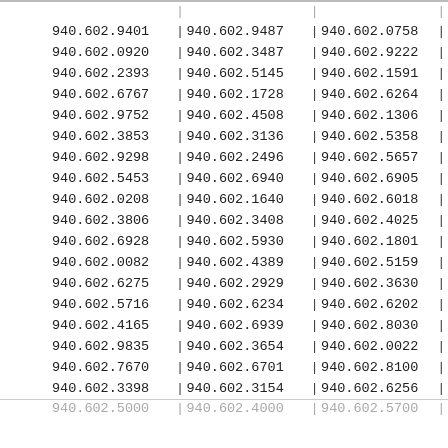| 940.602.9401 | | | 940.602.9487 | | | 940.602.0758 | | |
| 940.602.0920 | | | 940.602.3487 | | | 940.602.9222 | | |
| 940.602.2393 | | | 940.602.5145 | | | 940.602.1591 | | |
| 940.602.6767 | | | 940.602.1728 | | | 940.602.6264 | | |
| 940.602.9752 | | | 940.602.4508 | | | 940.602.1306 | | |
| 940.602.3853 | | | 940.602.3136 | | | 940.602.5358 | | |
| 940.602.9298 | | | 940.602.2496 | | | 940.602.5657 | | |
| 940.602.5453 | | | 940.602.6940 | | | 940.602.6905 | | |
| 940.602.0208 | | | 940.602.1640 | | | 940.602.6018 | | |
| 940.602.3806 | | | 940.602.3408 | | | 940.602.4025 | | |
| 940.602.6928 | | | 940.602.5930 | | | 940.602.1801 | | |
| 940.602.0082 | | | 940.602.4389 | | | 940.602.5159 | | |
| 940.602.6275 | | | 940.602.2929 | | | 940.602.3630 | | |
| 940.602.5716 | | | 940.602.6234 | | | 940.602.6202 | | |
| 940.602.4165 | | | 940.602.6939 | | | 940.602.8030 | | |
| 940.602.9835 | | | 940.602.3654 | | | 940.602.0022 | | |
| 940.602.7670 | | | 940.602.6701 | | | 940.602.8100 | | |
| 940.602.3398 | | | 940.602.3154 | | | 940.602.6256 | | |